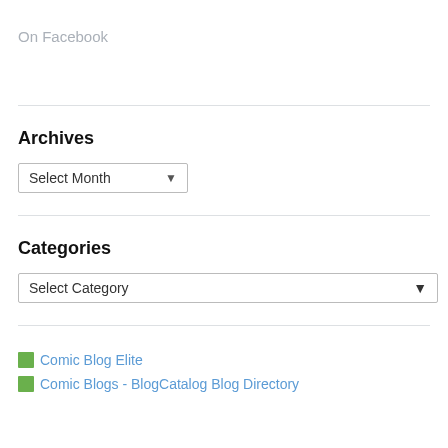On Facebook
Archives
[Figure (screenshot): Dropdown selector labeled 'Select Month' with a down arrow]
Categories
[Figure (screenshot): Dropdown selector labeled 'Select Category' with a down arrow]
Comic Blog Elite
Comic Blogs - BlogCatalog Blog Directory